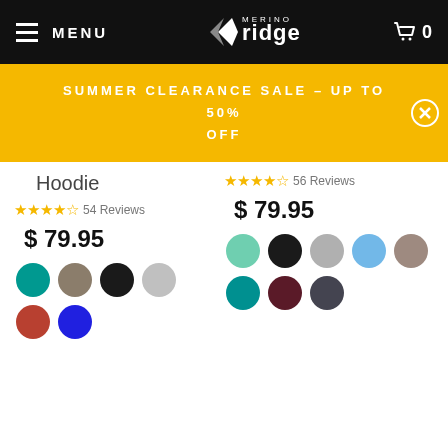MENU | Merino Ridge | Cart 0
SUMMER CLEARANCE SALE - UP TO 50% OFF
Hoodie
54 Reviews
$ 79.95
[Figure (other): Color swatches: teal, taupe, black, gray, red, blue]
56 Reviews
$ 79.95
[Figure (other): Color swatches: mint, black, gray, light blue, taupe, teal, dark red, dark gray]